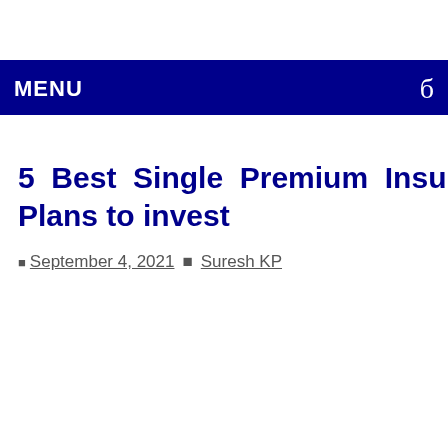5 Best Single Premium Insurance Plans to invest
September 4, 2021 | Suresh KP